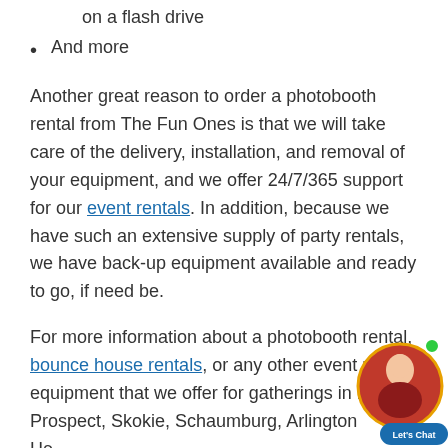All photos given to you at the end of the event on a flash drive
And more
Another great reason to order a photobooth rental from The Fun Ones is that we will take care of the delivery, installation, and removal of your equipment, and we offer 24/7/365 support for our event rentals. In addition, because we have such an extensive supply of party rentals, we have back-up equipment available and ready to go, if need be.
For more information about a photobooth rental, bounce house rentals, or any other event rental equipment that we offer for gatherings in Mt. Prospect, Skokie, Schaumburg, Arlington He...